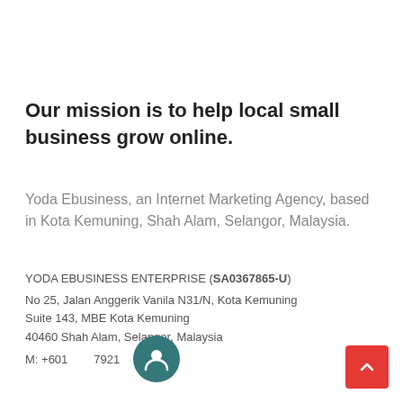Our mission is to help local small business grow online.
Yoda Ebusiness, an Internet Marketing Agency, based in Kota Kemuning, Shah Alam, Selangor, Malaysia.
YODA EBUSINESS ENTERPRISE (SA0367865-U)
No 25, Jalan Anggerik Vanila N31/N, Kota Kemuning
Suite 143, MBE Kota Kemuning
40460 Shah Alam, Selangor, Malaysia
M: +601[…]7921
[Figure (illustration): Teal circular user/person avatar icon]
[Figure (illustration): Red scroll-to-top button with upward chevron arrow]